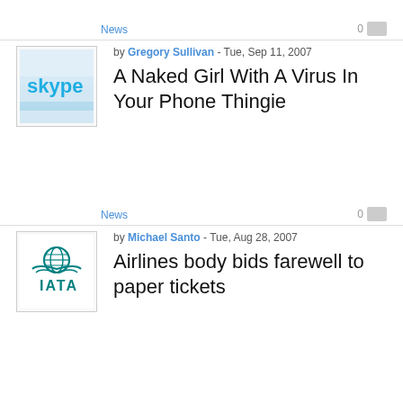News
0
by Gregory Sullivan - Tue, Sep 11, 2007
A Naked Girl With A Virus In Your Phone Thingie
[Figure (logo): Skype logo with blurred background]
News
0
by Michael Santo - Tue, Aug 28, 2007
Airlines body bids farewell to paper tickets
[Figure (logo): IATA logo with globe and wings in teal]